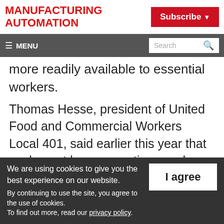MANUFACTURING AUTOMATION
Subscribe
≡ MENU | Search
more readily available to essential workers.
Thomas Hesse, president of United Food and Commercial Workers Local 401, said earlier this year that workers at large operations such as the Cargill meat-packing plant in High
We are using cookies to give you the best experience on our website. By continuing to use the site, you agree to the use of cookies. To find out more, read our privacy policy.